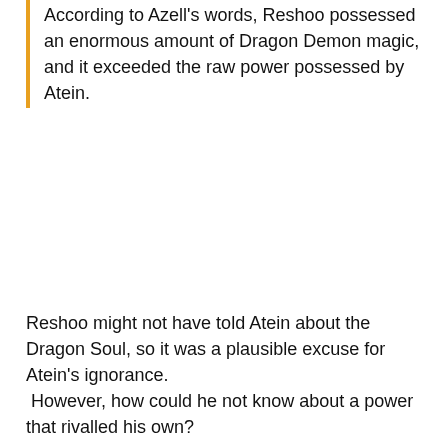According to Azell's words, Reshoo possessed an enormous amount of Dragon Demon magic, and it exceeded the raw power possessed by Atein.
Reshoo might not have told Atein about the Dragon Soul, so it was a plausible excuse for Atein's ignorance. However, how could he not know about a power that rivalled his own?